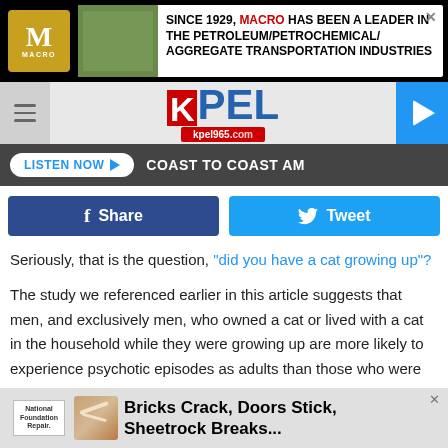[Figure (other): MACRO petroleum transportation industries advertisement banner with logo]
[Figure (logo): KPEL kpel965.com radio station logo with navigation bar and play button]
[Figure (other): Listen Now button and Coast to Coast AM text on dark bar]
[Figure (other): Facebook Share and Twitter Tweet social sharing buttons]
Seriously, that is the question, "did you have a cat growing up"?
The study we referenced earlier in this article suggests that men, and exclusively men, who owned a cat or lived with a cat in the household while they were growing up are more likely to experience psychotic episodes as adults than those who were not raised with a cat in the family.
[Figure (other): National Foundation Repair advertisement - Bricks Crack, Doors Stick, Sheetrock Breaks...]